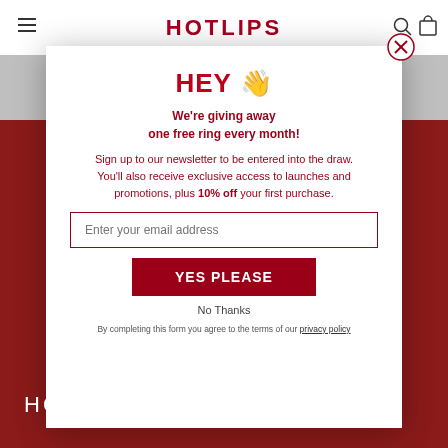HOTLIPS
HEY 👋
We're giving away one free ring every month!
Sign up to our newsletter to be entered into the draw. You'll also receive exclusive access to launches and promotions, plus 10% off your first purchase.
Enter your email address
YES PLEASE
No Thanks
By completing this form you agree to the terms of our privacy policy
HOTLIPS BY SOLANGE